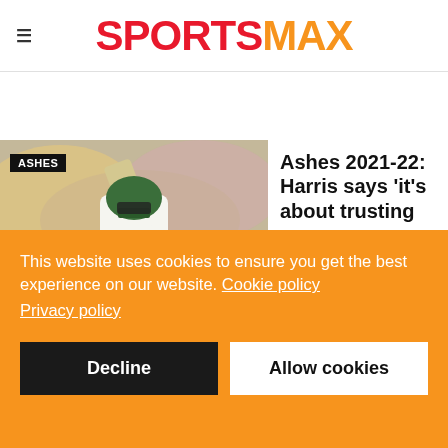SPORTSMAX
[Figure (photo): Cricket player in Australian uniform raising bat to the crowd, wearing green helmet, with crowd in background. Badge overlay reads: ASHES]
Ashes 2021-22: Harris says 'it's about trusting
This website uses cookies to ensure you get the best experience on our website. Cookie policy
Privacy policy
Decline   Allow cookies